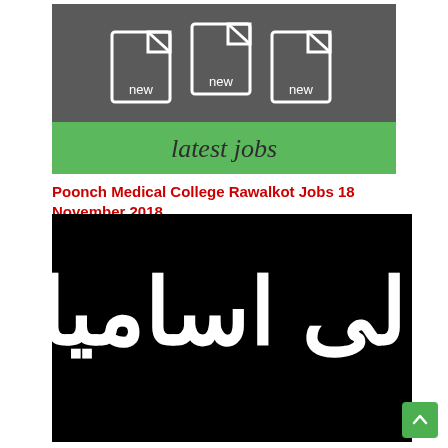[Figure (illustration): Latest jobs banner with three document icons labeled 'new' on a dark gray background and a green bar at the bottom with 'latest jobs' text]
Poonch Medical College Rawalkot Jobs 18 November 2018
[Figure (photo): Black background with large white Urdu calligraphy text reading 'Khali Asaami' (vacant positions)]